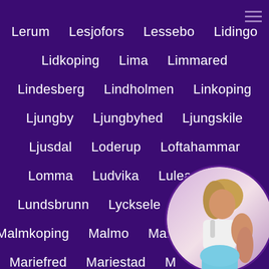Lerum   Lesjofors   Lessebo   Lidingo
Lidkoping   Lima   Limmared
Lindesberg   Lindholmen   Linkoping
Ljungby   Ljungbyhed   Ljungskile
Ljusdal   Loderup   Loftahammar
Lomma   Ludvika   Lulea   Lund
Lundsbrunn   Lycksele   Malmberget
Malmkoping   Malmo   Man...
Mariefred   Mariestad   M...
Marsta   Marstrand   Melle...
[Figure (photo): Circular cropped photo of a woman in white top and light blue shorts, posed with hand on hip, appearing in the bottom-right corner of the page]